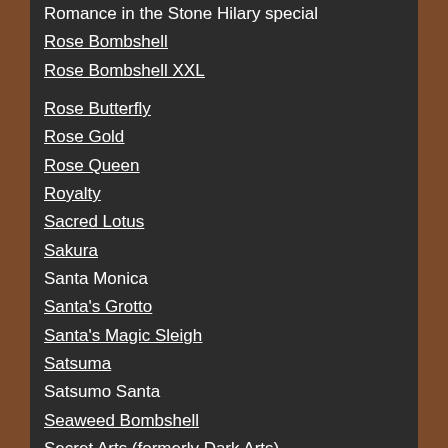Romance in the Stone Hilary special
Rose Bombshell
Rose Bombshell XXL
Rose Butterfly
Rose Gold
Rose Queen
Royalty
Sacred Lotus
Sakura
Santa Monica
Santa's Grotto
Santa's Magic Sleigh
Satsuma
Satsumo Santa
Seaweed Bombshell
Secret Arts (formerly Dark Arts)
Secret Garden
Secret Santa
Seventeen
Sea Road...